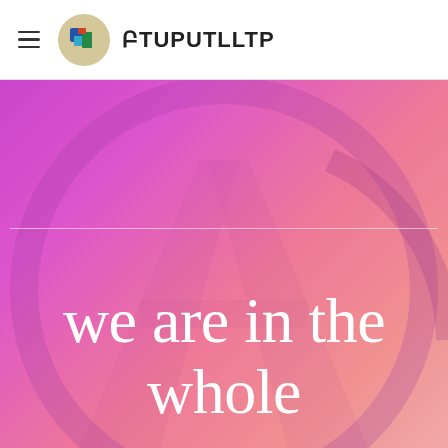☰ ԲTUPUTLLTP
[Figure (illustration): Hero banner with gradient background (purple to pink) featuring a large decorative circular arc/letter A watermark, a horizontal white dividing line, and large white serif text reading 'we are in the whole']
we are in the whole